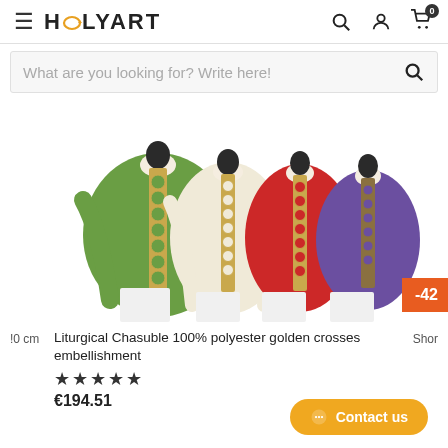HOLYART
What are you looking for? Write here!
[Figure (photo): Four liturgical chasubles on mannequins in green, cream/white, red, and purple colors, each with golden cross embellishments on the front panel]
-42
!0 cm   Liturgical Chasuble 100% polyester golden crosses embellishment   Shor
★★★★★
€194.51
Contact us